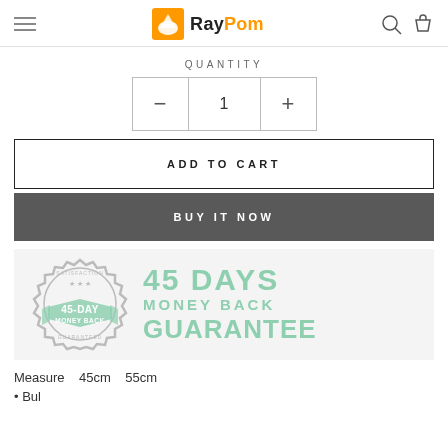RayPom — navigation header with logo, hamburger menu, search and cart icons
QUANTITY
— 1 +
ADD TO CART
BUY IT NOW
[Figure (infographic): 45-DAY MONEY BACK GUARANTEED satisfaction badge on the left; large text on right: 45 DAYS MONEY BACK GUARANTEE in mint/teal green]
Measure   45cm   55cm
• Bullet point text (partially visible)